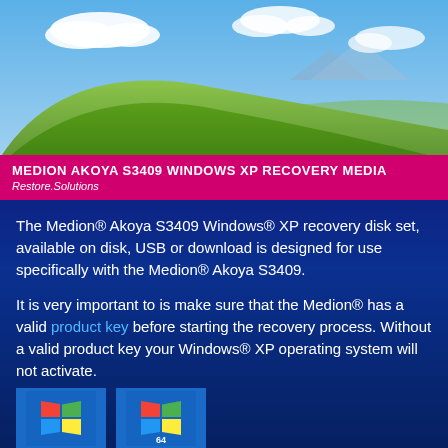[Figure (photo): Windows XP Bliss wallpaper — green rolling hill under blue sky with clouds]
MEDION AKOYA S3409 WINDOWS XP RECOVERY MEDIA
Restore.Solutions
The Medion® Akoya S3409 Windows® XP recovery disk set, available on disk, USB or download is designed for use specifically with the Medion® Akoya S3409.
It is very important to is make sure that the Medion® has a valid product key before starting the recovery process. Without a valid product key your Windows® XP operating system will not activate.
[Figure (logo): Windows XP logo icons at bottom of page — two colorful Windows flag logos side by side]